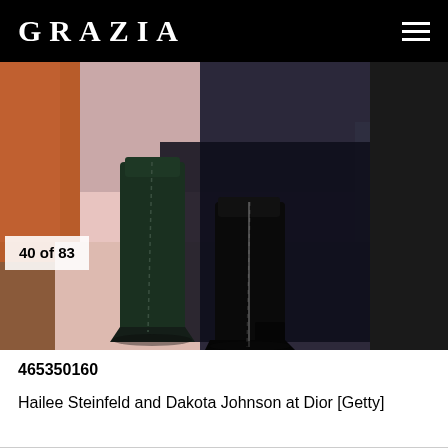GRAZIA
[Figure (photo): Close-up photo of two people wearing tall boots at a Dior event. One pair of boots is dark green leather, the other is black leather. A pink floor is visible, along with dark clothing/skirts and a white wall edge.]
40 of 83
465350160
Hailee Steinfeld and Dakota Johnson at Dior [Getty]